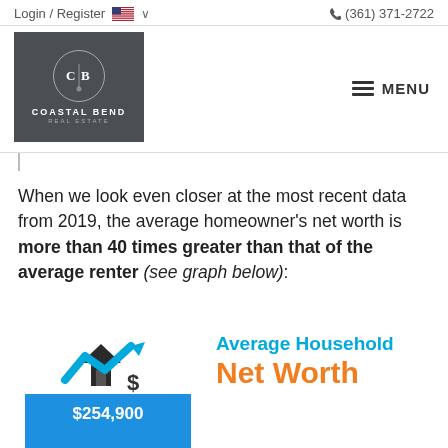Login / Register  🇺🇸 ∨      ☎ (361) 371-2722
[Figure (logo): Coastal Bend Real Estate logo — dark gray square with circular emblem showing C|B letters and compass, text reads COASTAL BEND REAL ESTATE]
[Figure (infographic): Hamburger menu icon with MENU label]
When we look even closer at the most recent data from 2019, the average homeowner's net worth is more than 40 times greater than that of the average renter (see graph below):
[Figure (infographic): Bar chart infographic showing Average Household Net Worth. A blue bar labeled $254,900 with a house icon and upward arrow above it. Right side text says 'Average Household Net Worth' in blue and orange.]